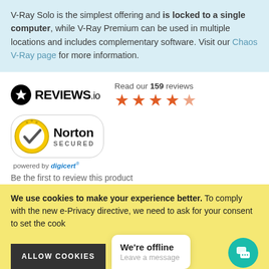V-Ray Solo is the simplest offering and is locked to a single computer, while V-Ray Premium can be used in multiple locations and includes complementary software. Visit our Chaos V-Ray page for more information.
[Figure (logo): REVIEWS.io logo with star badge, showing 'Read our 159 reviews' and 4.5 orange stars]
[Figure (logo): Norton Secured badge powered by digicert]
Be the first to review this product
We use cookies to make your experience better. To comply with the new e-Privacy directive, we need to ask for your consent to set the cook...
ALLOW COOKIES
We're offline
Leave a message